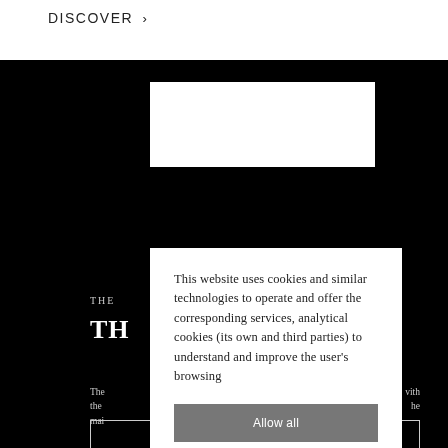DISCOVER ›
This website uses cookies and similar technologies to operate and offer the corresponding services, analytical cookies (its own and third parties) to understand and improve the user's browsing
Allow all
Decline all
Configure